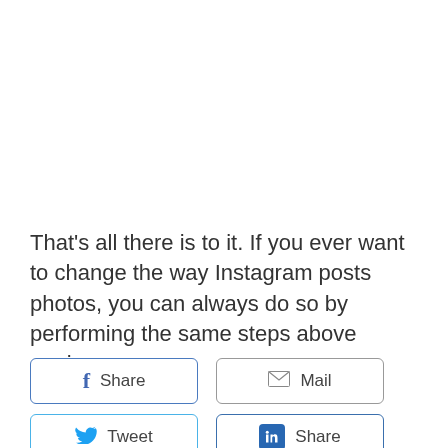That's all there is to it. If you ever want to change the way Instagram posts photos, you can always do so by performing the same steps above again.
[Figure (other): Social sharing buttons: Facebook Share, Mail, Tweet (Twitter), LinkedIn Share]